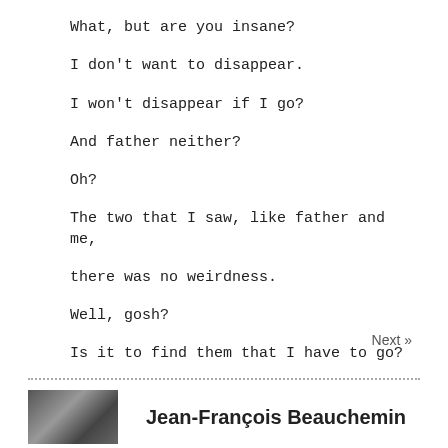What, but are you insane?
I don't want to disappear.
I won't disappear if I go?
And father neither?
Oh?
The two that I saw, like father and me,
there was no weirdness.
Well, gosh?
Is it to find them that I have to go?
Next »
Jean-François Beauchemin